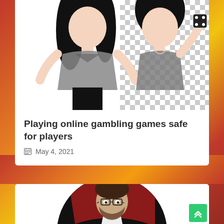[Figure (photo): Two women in glamorous outfits, one holding dice, on a checkered transparent background — casino/gambling themed promotional image]
Playing online gambling games safe for players
May 4, 2021
[Figure (photo): Man with glasses and beard in a circular cropped portrait, wearing a red jacket, dark background — casino/gambling themed]